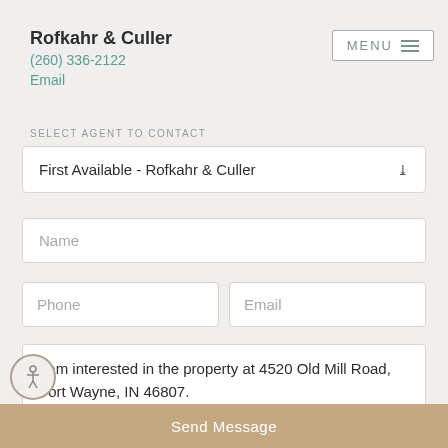Rofkahr & Culler
(260) 336-2122
Email
SELECT AGENT TO CONTACT
First Available - Rofkahr & Culler
Name
Phone
Email
I am interested in the property at 4520 Old Mill Road, Fort Wayne, IN 46807.
Send Message